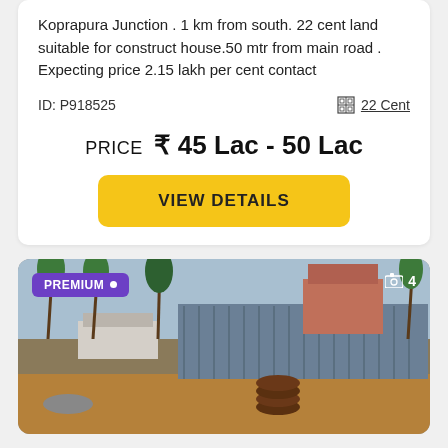Koprapura Junction . 1 km from south. 22 cent land suitable for construct house.50 mtr from main road . Expecting price 2.15 lakh per cent contact
ID: P918525    22 Cent
PRICE ₹45 Lac - 50 Lac
VIEW DETAILS
[Figure (photo): Outdoor photo of a vacant land plot with coconut trees and a grey corrugated metal boundary wall in the background, with buildings visible. PREMIUM badge top-left, photo count '4' top-right.]